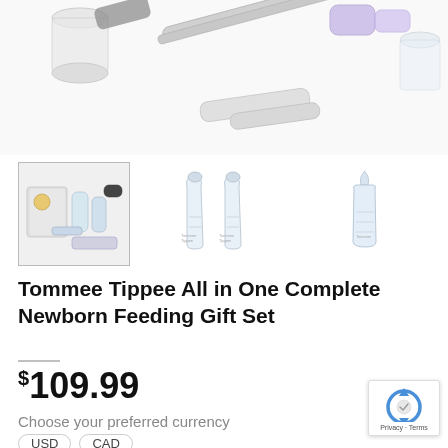[Figure (photo): Top portion of a product image showing baby feeding set items including bottles, brush, and accessories on white background]
[Figure (photo): Three thumbnail images: first showing the complete Tommee Tippee newborn feeding gift set, second showing two baby bottles side by side, third showing a single small baby bottle]
Tommee Tippee All in One Complete Newborn Feeding Gift Set
$109.99
Choose your preferred currency
USD  CAD